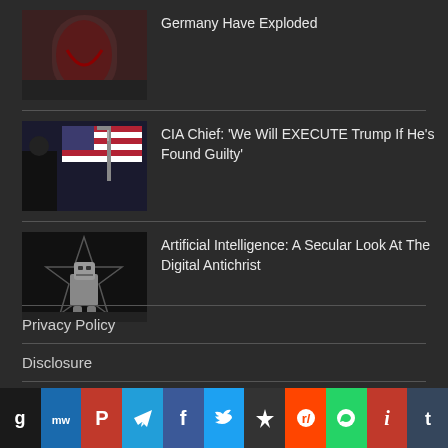[Figure (photo): Thumbnail image, article 1 - bloody scene]
Germany Have Exploded
[Figure (photo): Thumbnail image, article 2 - figure with US flag and gallows]
CIA Chief: ‘We Will EXECUTE Trump If He’s Found Guilty’
[Figure (photo): Thumbnail image, article 3 - robot with pentagram background]
Artificial Intelligence: A Secular Look At The Digital Antichrist
Privacy Policy
Disclosure
About Me
[Figure (infographic): Social sharing bar with icons: G, MW, P, Telegram, Facebook, Twitter, Star, Reddit, WhatsApp, i, Tumblr]